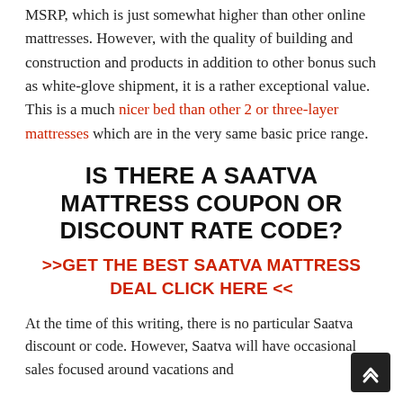MSRP, which is just somewhat higher than other online mattresses. However, with the quality of building and construction and products in addition to other bonus such as white-glove shipment, it is a rather exceptional value. This is a much nicer bed than other 2 or three-layer mattresses which are in the very same basic price range.
IS THERE A SAATVA MATTRESS COUPON OR DISCOUNT RATE CODE?
>>GET THE BEST SAATVA MATTRESS DEAL CLICK HERE <<
At the time of this writing, there is no particular Saatva discount or code. However, Saatva will have occasional sales focused around vacations and